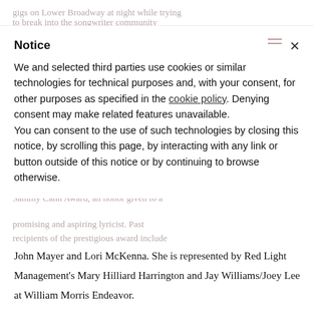gigs on Lower Broadway at night while trying to break into the songwriter community during the day. She signed a publishing deal in 2016, with Universal Music Publishing Group, as the youngest writer on their roster, and went on to win the ASCAP Foundation's Sammy Cahn Award, an honor given to a promising and aspiring lyricist. Past recipients of the prestigious award include
Notice
We and selected third parties use cookies or similar technologies for technical purposes and, with your consent, for other purposes as specified in the cookie policy. Denying consent may make related features unavailable.
You can consent to the use of such technologies by closing this notice, by scrolling this page, by interacting with any link or button outside of this notice or by continuing to browse otherwise.
John Mayer and Lori McKenna. She is represented by Red Light Management's Mary Hilliard Harrington and Jay Williams/Joey Lee at William Morris Endeavor.
To commemorate signing her first record deal, Caylee used an antique quill pen originally used when her grandparents signed their marriage certificate over 50 years ago.